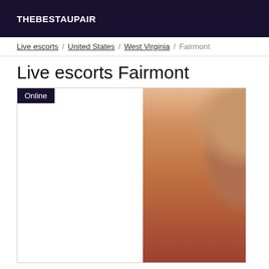THEBESTAUPAIR
Live escorts / United States / West Virginia / Fairmont
Live escorts Fairmont
[Figure (photo): Photo of a young woman with long dark hair wearing a red lace top, posed for a selfie. An 'Online' badge appears in the top-left corner of the listing card.]